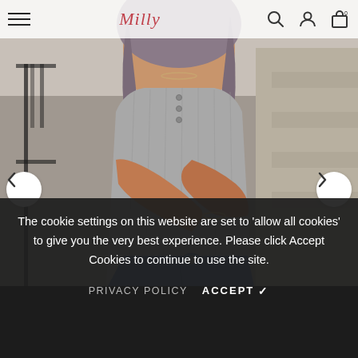≡  Milly  [search] [account] [bag 0]
[Figure (photo): Fashion product photo of a woman wearing a grey ribbed henley tank top tucked into blue jeans, with a delicate chain bracelet, photographed outdoors near stone steps with iron railing. Navigation arrows (< >) on left and right sides of the image carousel.]
The cookie settings on this website are set to 'allow all cookies' to give you the very best experience. Please click Accept Cookies to continue to use the site.
PRIVACY POLICY  ACCEPT ✓